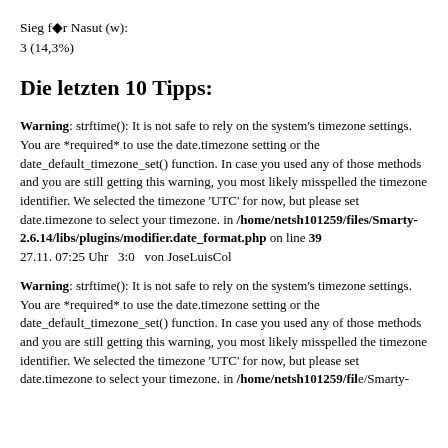Sieg für Nasut (w):
3 (14,3%)
Die letzten 10 Tipps:
Warning: strftime(): It is not safe to rely on the system's timezone settings. You are *required* to use the date.timezone setting or the date_default_timezone_set() function. In case you used any of those methods and you are still getting this warning, you most likely misspelled the timezone identifier. We selected the timezone 'UTC' for now, but please set date.timezone to select your timezone. in /home/netsh101259/files/Smarty-2.6.14/libs/plugins/modifier.date_format.php on line 39
27.11. 07:25 Uhr   3:0   von JoseLuisCol
Warning: strftime(): It is not safe to rely on the system's timezone settings. You are *required* to use the date.timezone setting or the date_default_timezone_set() function. In case you used any of those methods and you are still getting this warning, you most likely misspelled the timezone identifier. We selected the timezone 'UTC' for now, but please set date.timezone to select your timezone. in /home/netsh101259/files/Smarty-...